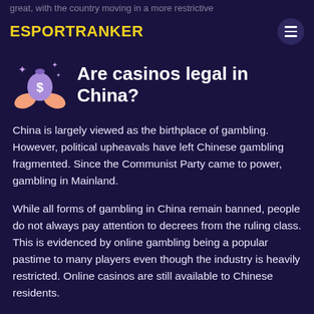great, with the country moving in a more restrictive
ESPORTRANKER
Are casinos legal in China?
China is largely viewed as the birthplace of gambling. However, political upheavals have left Chinese gambling fragmented. Since the Communist Party came to power, gambling in Mainland.
While all forms of gambling in China remain banned, people do not always pay attention to decrees from the ruling class. This is evidenced by online gambling being a popular pastime to many players even though the industry is heavily restricted. Online casinos are still available to Chinese residents.
Bettor discretion is usually highly advised outside